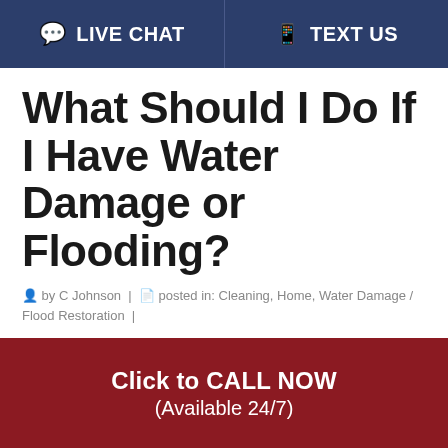LIVE CHAT   TEXT US
What Should I Do If I Have Water Damage or Flooding?
by C Johnson |  posted in: Cleaning, Home, Water Damage / Flood Restoration |
What To Do Until Help Arrives The most important factor to focus on after any situation with water damage is safety. General questions to ask yourself to gain this assurance are: Would it be logically safe to stay in the … Read More
Click to CALL NOW (Available 24/7)